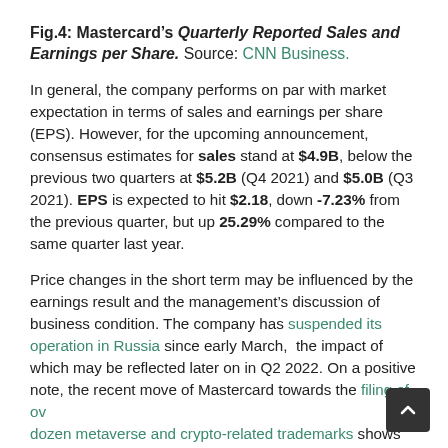Fig.4: Mastercard's Quarterly Reported Sales and Earnings per Share. Source: CNN Business.
In general, the company performs on par with market expectation in terms of sales and earnings per share (EPS). However, for the upcoming announcement, consensus estimates for sales stand at $4.9B, below the previous two quarters at $5.2B (Q4 2021) and $5.0B (Q3 2021). EPS is expected to hit $2.18, down -7.23% from the previous quarter, but up 25.29% compared to the same quarter last year.
Price changes in the short term may be influenced by the earnings result and the management's discussion of business condition. The company has suspended its operation in Russia since early March, the impact of which may be reflected later on in Q2 2022. On a positive note, the recent move of Mastercard towards the filing of over dozen metaverse and crypto-related trademarks shows